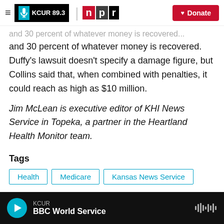[Figure (screenshot): KCUR 89.3 and NPR navigation header with Donate button]
and 30 percent of whatever money is recovered. Duffy's lawsuit doesn't specify a damage figure, but Collins said that, when combined with penalties, it could reach as high as $10 million.
Jim McLean is executive editor of KHI News Service in Topeka, a partner in the Heartland Health Monitor team.
Tags  Health  Medicare  Kansas News Service
KCUR BBC World Service